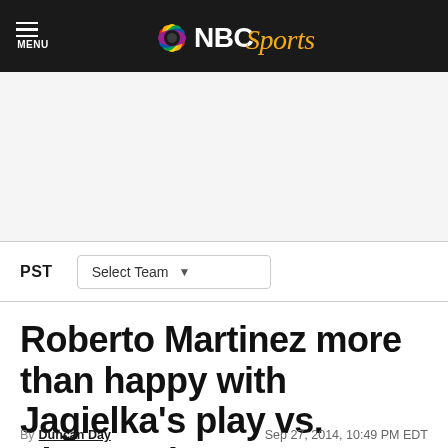NBC Sports
[Figure (screenshot): White ad placeholder area]
PST   Select Team
Roberto Martinez more than happy with Jagielka's play vs. Liverpool
By Duncan Day   Sep 27, 2014, 10:49 PM EDT